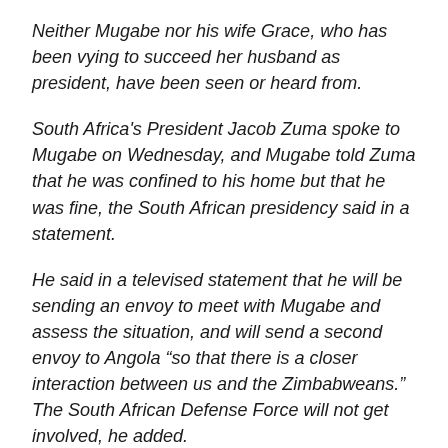Neither Mugabe nor his wife Grace, who has been vying to succeed her husband as president, have been seen or heard from.
South Africa's President Jacob Zuma spoke to Mugabe on Wednesday, and Mugabe told Zuma that he was confined to his home but that he was fine, the South African presidency said in a statement.
He said in a televised statement that he will be sending an envoy to meet with Mugabe and assess the situation, and will send a second envoy to Angola “so that there is a closer interaction between us and the Zimbabweans.” The South African Defense Force will not get involved, he added.
The opposition Movement for Democratic Change called